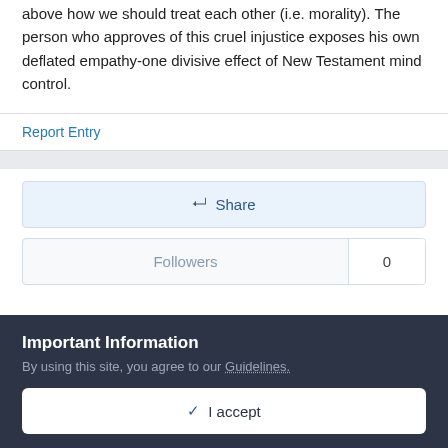above how we should treat each other (i.e. morality). The person who approves of this cruel injustice exposes his own deflated empathy-one divisive effect of New Testament mind control.
Report Entry
Share
Followers 0
Important Information
By using this site, you agree to our Guidelines.
✓ I accept